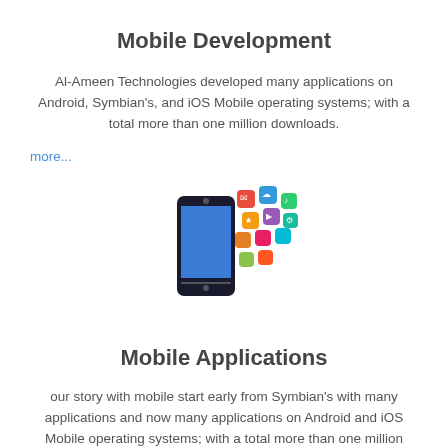Mobile Development
Al-Ameen Technologies developed many applications on Android, Symbian's, and iOS Mobile operating systems; with a total more than one million downloads.
more...
[Figure (illustration): Smartphone with colorful app icons flying out of the screen]
Mobile Applications
our story with mobile start early from Symbian's with many applications and now many applications on Android and iOS Mobile operating systems; with a total more than one million downloads. These apps are: